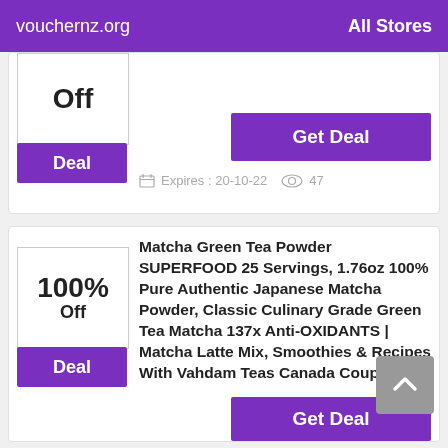vouchernz.org   All Stores
Deal
Get Deal
Expires : 20-10-22   47
100% Off
Deal
Matcha Green Tea Powder SUPERFOOD 25 Servings, 1.76oz 100% Pure Authentic Japanese Matcha Powder, Classic Culinary Grade Green Tea Matcha 137x Anti-OXIDANTS | Matcha Latte Mix, Smoothies & Recipes With Vahdam Teas Canada Coupons
Get Deal